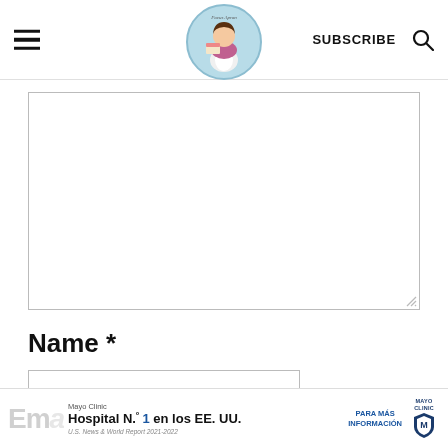SUBSCRIBE
[Figure (logo): Frocu Apron blog logo — circular badge with illustrated woman holding a cake, light blue background]
[Figure (illustration): Large empty textarea/comment box with resize handle in bottom-right corner]
Name *
[Figure (screenshot): Name input text field, empty]
[Figure (infographic): Mayo Clinic advertisement banner: 'Hospital N.º 1 en los EE. UU.' with 'PARA MÁS INFORMACIÓN' button and Mayo Clinic logo. U.S. News & World Report 2021-2022.]